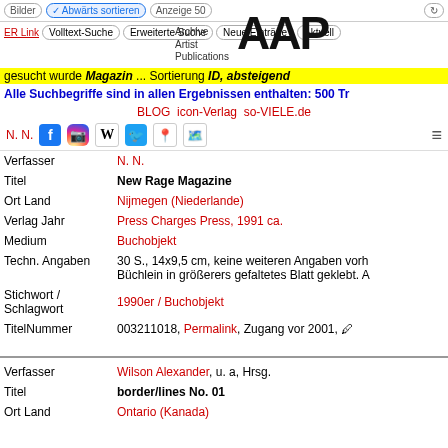Bilder | Abwärts sortieren | Anzeige 50
Volltext-Suche | Erweiterte Suche | Neue Einträge | Aktuell
[Figure (logo): AAP Archive Artist Publications logo]
gesucht wurde Magazin ... Sortierung ID, absteigend
Alle Suchbegriffe sind in allen Ergebnissen enthalten: 500 Tr
BLOG icon-Verlag so-VIELE.de
N. N. [social media icons]
| Field | Value |
| --- | --- |
| Verfasser | N. N. |
| Titel | New Rage Magazine |
| Ort Land | Nijmegen (Niederlande) |
| Verlag Jahr | Press Charges Press, 1991 ca. |
| Medium | Buchobjekt |
| Techn. Angaben | 30 S., 14x9,5 cm, keine weiteren Angaben vorh. Büchlein in größerers gefaltetes Blatt geklebt. A |
| Stichwort / Schlagwort | 1990er / Buchobjekt |
| TitelNummer | 003211018, Permalink, Zugang vor 2001, 🖊 |
| Field | Value |
| --- | --- |
| Verfasser | Wilson Alexander, u. a, Hrsg. |
| Titel | border/lines No. 01 |
| Ort Land | Ontario (Kanada) |